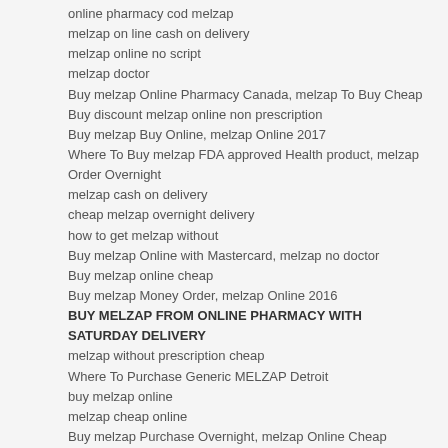online pharmacy cod melzap
melzap on line cash on delivery
melzap online no script
melzap doctor
Buy melzap Online Pharmacy Canada, melzap To Buy Cheap
Buy discount melzap online non prescription
Buy melzap Buy Online, melzap Online 2017
Where To Buy melzap FDA approved Health product, melzap Order Overnight
melzap cash on delivery
cheap melzap overnight delivery
how to get melzap without
Buy melzap Online with Mastercard, melzap no doctor
Buy melzap online cheap
Buy melzap Money Order, melzap Online 2016
BUY MELZAP FROM ONLINE PHARMACY WITH SATURDAY DELIVERY
melzap without prescription cheap
Where To Purchase Generic MELZAP Detroit
buy melzap online
melzap cheap online
Buy melzap Purchase Overnight, melzap Online Cheap
Legal order melzap online canada
Tags:
canadian prescriptions melzap